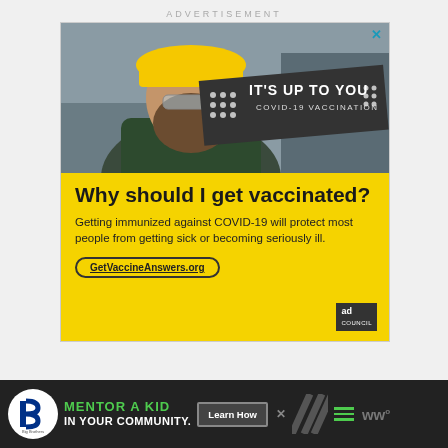ADVERTISEMENT
[Figure (photo): COVID-19 vaccination advertisement showing a bearded man in a yellow hard hat and safety glasses with text 'IT'S UP TO YOU - COVID-19 VACCINATION' overlay]
Why should I get vaccinated?
Getting immunized against COVID-19 will protect most people from getting sick or becoming seriously ill.
GetVaccineAnswers.org
[Figure (infographic): Bottom banner ad for Big Brothers Big Sisters: MENTOR A KID IN YOUR COMMUNITY. Learn How button. Ad Council logo.]